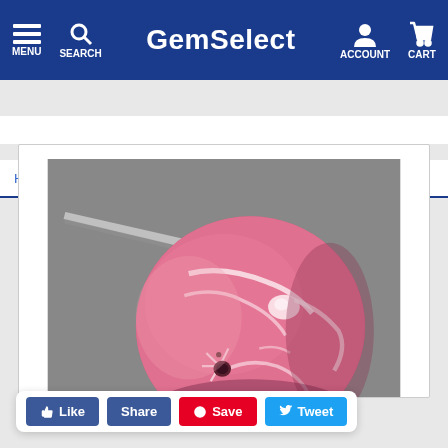GemSelect — MENU, SEARCH, ACCOUNT, CART
Home > Gemstones > Rhodochrosite > Item ID = 194893
[Figure (photo): Close-up photo of a pink rhodochrosite gemstone bead held by metal tweezers against a gray background. The round bead has white veining patterns and a small drill hole visible on its surface.]
Like  Share  Save  Tweet